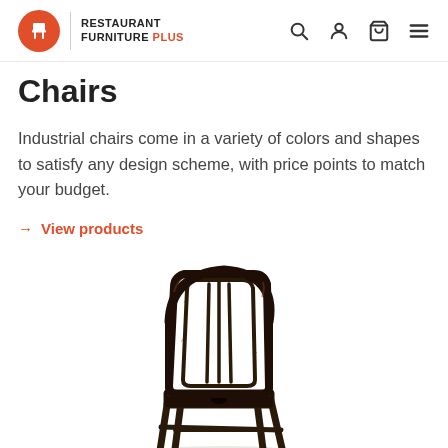Restaurant Furniture Plus
Chairs
Industrial chairs come in a variety of colors and shapes to satisfy any design scheme, with price points to match your budget.
→ View products
[Figure (photo): An industrial-style metal chair with a dark antique finish, featuring a slatted back and a rounded top rail, photographed from a slight angle against a white background.]